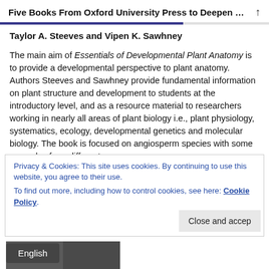Five Books From Oxford University Press to Deepen …
Taylor A. Steeves and Vipen K. Sawhney
The main aim of Essentials of Developmental Plant Anatomy is to provide a developmental perspective to plant anatomy. Authors Steeves and Sawhney provide fundamental information on plant structure and development to students at the introductory level, and as a resource material to researchers working in nearly all areas of plant biology i.e., plant physiology, systematics, ecology, developmental genetics and molecular biology. The book is focused on angiosperm species with some examples from different groups
Privacy & Cookies: This site uses cookies. By continuing to use this website, you agree to their use.
To find out more, including how to control cookies, see here: Cookie Policy.
Close and accep
English